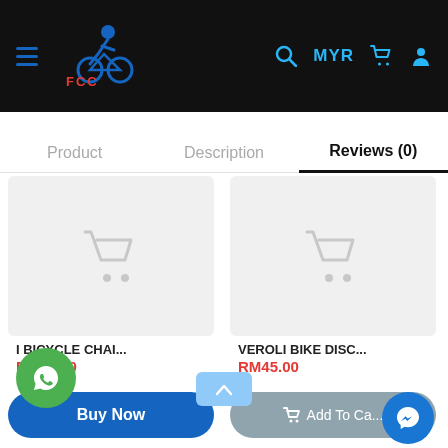[Figure (screenshot): E-commerce website header with hamburger menu, FCC cycling logo in blue, search icon, MYR currency label, cart icon, and user icon on black background]
Product   Description   Reviews (0)
[Figure (screenshot): Product card with placeholder cart icon image for 'I BICYCLE CHAI...' priced at RM22.00]
[Figure (screenshot): Product card with placeholder cart icon image for 'VEROLI BIKE DISC...' priced at RM45.00]
I BICYCLE CHAI...
RM22.00
VEROLI BIKE DISC...
RM45.00
Buy Now
Add To Ca...